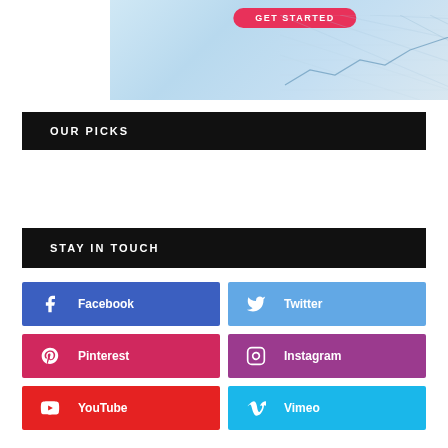[Figure (photo): Banner image with GET STARTED button and glass building background]
OUR PICKS
STAY IN TOUCH
Facebook
Twitter
Pinterest
Instagram
YouTube
Vimeo